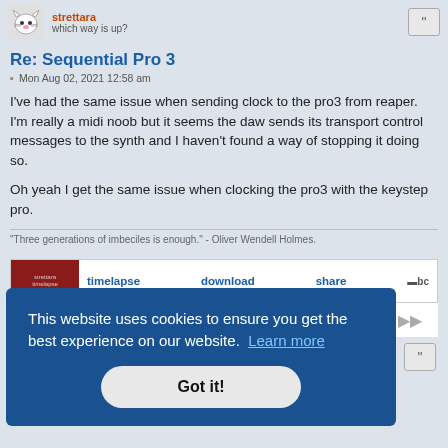strettara — which way is up?
Re: Sequential Pro 3
Mon Aug 02, 2021 12:58 am
I've had the same issue when sending clock to the pro3 from reaper. I'm really a midi noob but it seems the daw sends its transport control messages to the synth and I haven't found a way of stopping it doing so.

Oh yeah I get the same issue when clocking the pro3 with the keystep pro.
"Three generations of imbeciles is enough." - Oliver Wendell Holmes.
[Figure (screenshot): Bandcamp embedded player strip showing timelapse, download, share links and bc logo]
This website uses cookies to ensure you get the best experience on our website. Learn more
Got it!